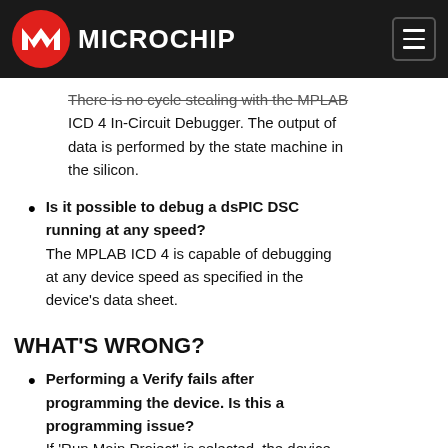Microchip
There is no cycle stealing with the MPLAB ICD 4 In-Circuit Debugger. The output of data is performed by the state machine in the silicon.
Is it possible to debug a dsPIC DSC running at any speed? The MPLAB ICD 4 is capable of debugging at any device speed as specified in the device’s data sheet.
WHAT’S WRONG?
Performing a Verify fails after programming the device. Is this a programming issue? If 'Run Main Project' is selected, the device